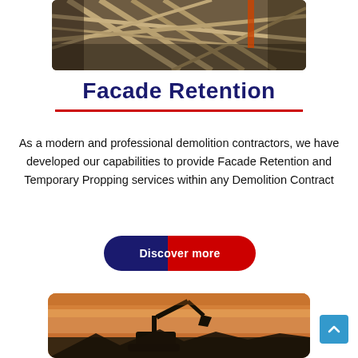[Figure (photo): Aerial or close-up view of steel scaffolding/truss framework at a construction or demolition site, showing metal beams and structure, with a crane visible in the background]
Facade Retention
As a modern and professional demolition contractors, we have developed our capabilities to provide Facade Retention and Temporary Propping services within any Demolition Contract
[Figure (infographic): A button graphic with two-tone (dark blue and red) pill/stadium shape containing white bold text 'Discover more']
[Figure (photo): Silhouette of an excavator/demolition machine against an orange-pink dusk sky, at a demolition site]